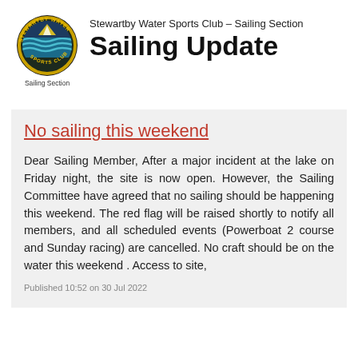[Figure (logo): Stewartby Water Sports Club circular logo with bird and waves]
Sailing Section
Stewartby Water Sports Club – Sailing Section
Sailing Update
No sailing this weekend
Dear Sailing Member, After a major incident at the lake on Friday night, the site is now open. However, the Sailing Committee have agreed that no sailing should be happening this weekend. The red flag will be raised shortly to notify all members, and all scheduled events (Powerboat 2 course and Sunday racing) are cancelled. No craft should be on the water this weekend . Access to site,
Published 10:52 on 30 Jul 2022